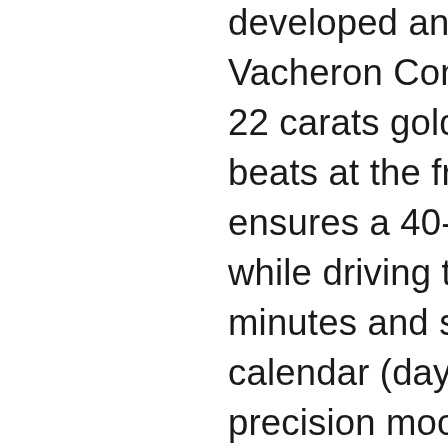developed and manufactured by Vacheron Constantin. Equipped with a 22 carats gold oscillating weight, it beats at the frequency of 4 Hz and ensures a 40-hour power reserve while driving the central hours, minutes and seconds, complete calendar (day, date and month), precision moon phase and age of the moon. The remarkably accurate moon-phase indication requires just one